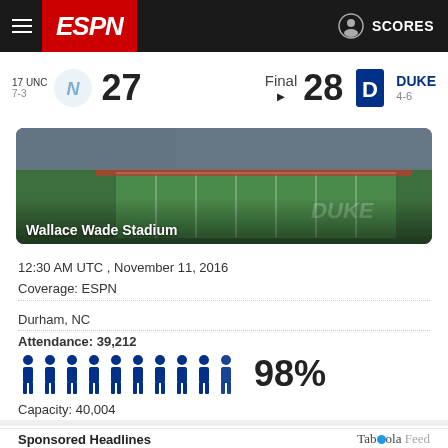ESPN SCORES
17 UNC 7-3  27  Final  28  DUKE 4-6
[Figure (photo): Aerial view of Wallace Wade Stadium football field with crowd in stands]
Wallace Wade Stadium
12:30 AM UTC , November 11, 2016
Coverage: ESPN
Durham, NC
Attendance: 39,212
[Figure (infographic): 10 person icons representing 98% capacity attendance]
98%
Capacity: 40,004
Sponsored Headlines
Taboola Feed